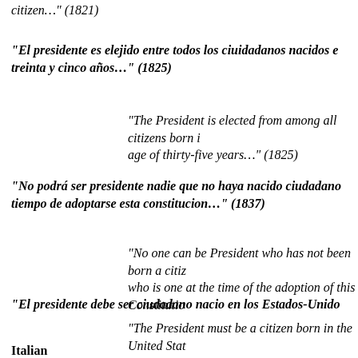citizen…" (1821)
"El presidente es elejido entre todos los ciuidadanos nacidos e treinta y cinco años…" (1825)
"The President is elected from among all citizens born i age of thirty-five years…" (1825)
"No podrá ser presidente nadie que no haya nacido ciudadano tiempo de adoptarse esta constitucion…" (1837)
"No one can be President who has not been born a citi who is one at the time of the adoption of this Constitutio
"El presidente debe ser ciudadano nacio en los Estados-Unido
"The President must be a citizen born in the United Stat
Italian